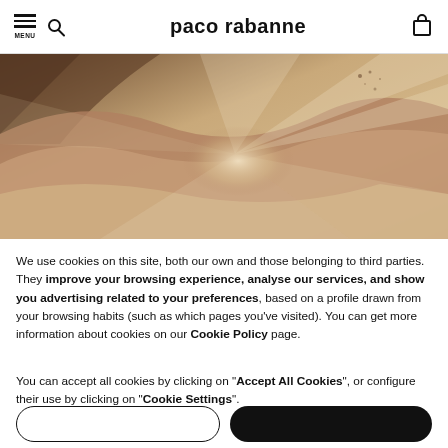paco rabanne
[Figure (photo): Desert sand dunes with light streaks, warm brown tones, hero image for paco rabanne website]
We use cookies on this site, both our own and those belonging to third parties. They improve your browsing experience, analyse our services, and show you advertising related to your preferences, based on a profile drawn from your browsing habits (such as which pages you've visited). You can get more information about cookies on our Cookie Policy page.
You can accept all cookies by clicking on "Accept All Cookies", or configure their use by clicking on "Cookie Settings".